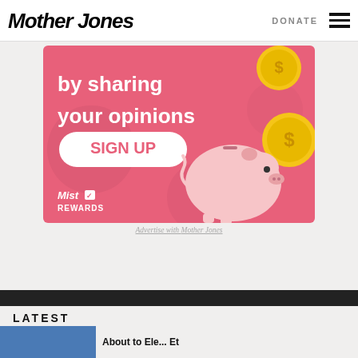Mother Jones | DONATE
[Figure (illustration): Advertisement banner for Mist Rewards showing pink background with gold coins, a piggy bank illustration, bold white text 'by sharing your opinions', and a white pill-shaped SIGN UP button with pink text. Mist Rewards logo in bottom left.]
Advertise with Mother Jones
LATEST
[Figure (photo): Partial thumbnail photo with blue tones at bottom left]
About to Ele... Et